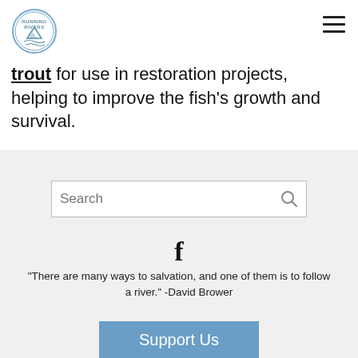[Figure (logo): Running Rivers circular logo with mountain and water imagery]
[Figure (other): Hamburger menu icon (three horizontal lines)]
trout for use in restoration projects, helping to improve the fish's growth and survival.
Search
[Figure (other): Facebook 'f' icon]
RUNNING RIVERS
"There are many ways to salvation, and one of them is to follow a river." -David Brower
Support Us